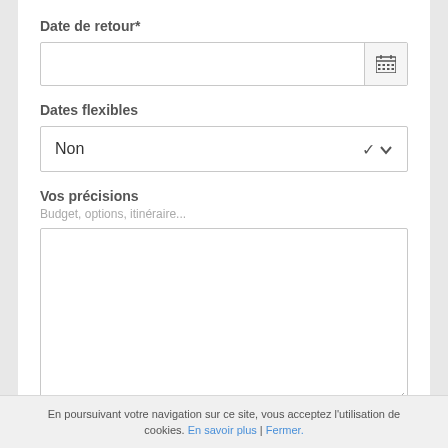Date de retour*
[Figure (screenshot): Date input field with calendar icon button on the right]
Dates flexibles
[Figure (screenshot): Dropdown select field showing 'Non' with chevron arrow]
Vos précisions
Budget, options, itinéraire...
[Figure (screenshot): Large empty textarea with resize handle]
En poursuivant votre navigation sur ce site, vous acceptez l'utilisation de cookies. En savoir plus | Fermer.